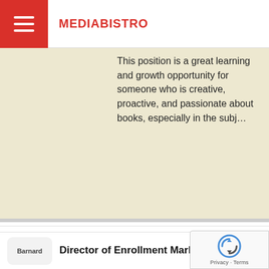MEDIABISTRO
This position is a great learning and growth opportunity for someone who is creative, proactive, and passionate about books, especially in the subj...
Marketing Activations Manager
Afar Media - Remote, Work from USA (14 days ago)
AFAR Media is currently seeking a Marketing Activations Manager to join the Sales & Marketing team.
Director of Enrollment Marketing